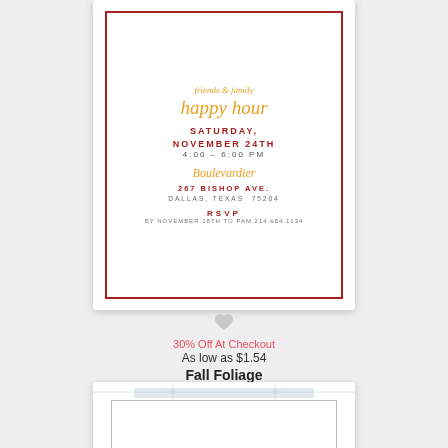[Figure (illustration): Party invitation card with red border on white background. Text reads: (script font) happy hour; SATURDAY, NOVEMBER 24TH; 4:00 - 6:00 PM; (script) Boulevardier; 267 BISHOP AVE., DALLAS, TEXAS 75204; RSVP BY NOVEMBER 18TH TO PAM 214.684.1134]
30% Off At Checkout
As low as $1.54
Fall Foliage
[Figure (illustration): Tailgating party invitation card with tape/clip decorations and silver border. Text reads: JOIN US FOR TAILGATING; BEFORE THE GAME; GEORGIA]